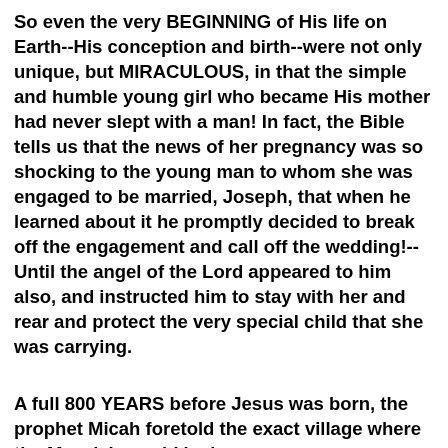So even the very BEGINNING of His life on Earth--His conception and birth--were not only unique, but MIRACULOUS, in that the simple and humble young girl who became His mother had never slept with a man! In fact, the Bible tells us that the news of her pregnancy was so shocking to the young man to whom she was engaged to be married, Joseph, that when he learned about it he promptly decided to break off the engagement and call off the wedding!--Until the angel of the Lord appeared to him also, and instructed him to stay with her and rear and protect the very special child that she was carrying.
A full 800 YEARS before Jesus was born, the prophet Micah foretold the exact village where the Messiah would be born: